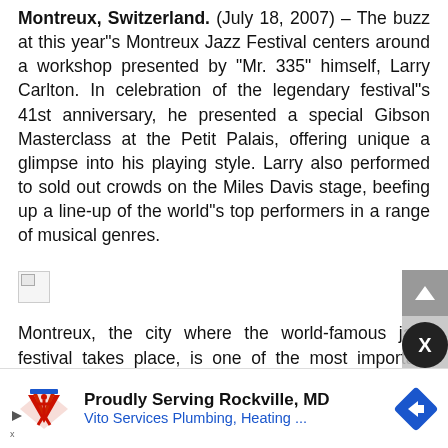Montreux, Switzerland. (July 18, 2007) – The buzz at this year's Montreux Jazz Festival centers around a workshop presented by "Mr. 335" himself, Larry Carlton. In celebration of the legendary festival's 41st anniversary, he presented a special Gibson Masterclass at the Petit Palais, offering unique a glimpse into his playing style. Larry also performed to sold out crowds on the Miles Davis stage, beefing up a line-up of the world's top performers in a range of musical genres.
[Figure (photo): Broken/missing image placeholder (small icon with broken image symbol)]
Montreux, the city where the world-famous jazz festival takes place, is one of the most important cities in music history. In1971 a band called Deep Purple visited the city to record their album "Machine Head." During their stay, the casino in Montreux burned down, inspiring the band to write "... ins perha... ever.
[Figure (infographic): Advertisement banner: Proudly Serving Rockville, MD - Vito Services Plumbing, Heating ... with logo and navigation icon]